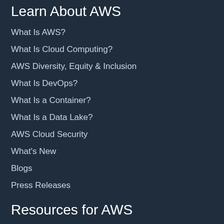Learn About AWS
What Is AWS?
What Is Cloud Computing?
AWS Diversity, Equity & Inclusion
What Is DevOps?
What Is a Container?
What Is a Data Lake?
AWS Cloud Security
What's New
Blogs
Press Releases
Resources for AWS
Getting Started
Training and Certification
AWS Solutions Portfolio
Architecture Center